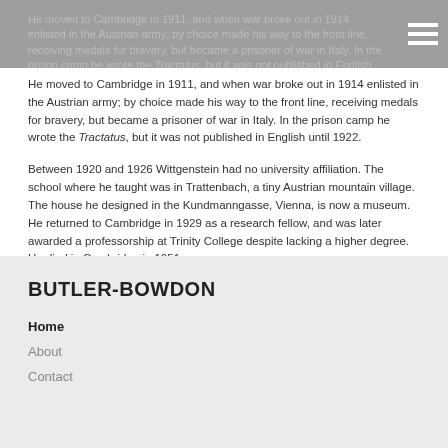He moved to Cambridge in 1911, and when war broke out in 1914 enlisted in the Austrian army; by choice made his way to the front line, receiving medals for bravery, but became a prisoner of war in Italy. In the prison camp he wrote the Tractatus, but it was not published in English until 1922.
He moved to Cambridge in 1911, and when war broke out in 1914 enlisted in the Austrian army; by choice made his way to the front line, receiving medals for bravery, but became a prisoner of war in Italy. In the prison camp he wrote the Tractatus, but it was not published in English until 1922.
Between 1920 and 1926 Wittgenstein had no university affiliation. The school where he taught was in Trattenbach, a tiny Austrian mountain village. The house he designed in the Kundmanngasse, Vienna, is now a museum. He returned to Cambridge in 1929 as a research fellow, and was later awarded a professorship at Trinity College despite lacking a higher degree. He died in Cambridge in 1951.
BUTLER-BOWDON
Home
About
Contact